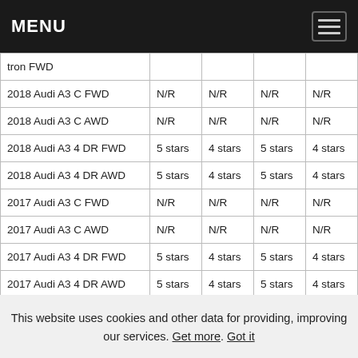MENU
| tron FWD |  |  |  |  |
| 2018 Audi A3 C FWD | N/R | N/R | N/R | N/R |
| 2018 Audi A3 C AWD | N/R | N/R | N/R | N/R |
| 2018 Audi A3 4 DR FWD | 5 stars | 4 stars | 5 stars | 4 stars |
| 2018 Audi A3 4 DR AWD | 5 stars | 4 stars | 5 stars | 4 stars |
| 2017 Audi A3 C FWD | N/R | N/R | N/R | N/R |
| 2017 Audi A3 C AWD | N/R | N/R | N/R | N/R |
| 2017 Audi A3 4 DR FWD | 5 stars | 4 stars | 5 stars | 4 stars |
| 2017 Audi A3 4 DR AWD | 5 stars | 4 stars | 5 stars | 4 stars |
| 2016 Audi A3 C FWD | N/R | N/R | N/R | N/R |
| 2016 Audi A3 C AWD | N/R | N/R | N/R | N/R |
| 2016 Audi A3 4 DR FWD | 5 stars | 4 stars | 5 stars | 4 stars |
This website uses cookies and other data for providing, improving our services. Get more. Got it